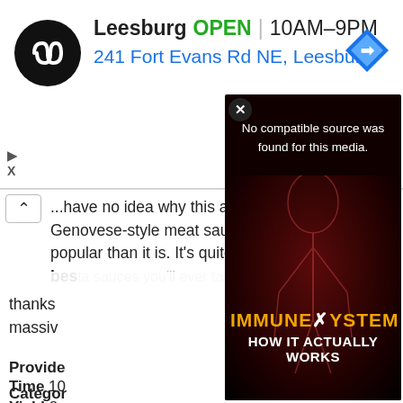[Figure (screenshot): Ad banner showing Leesburg store location, logo (black circle with infinity-like symbol), address 241 Fort Evans Rd NE Leesburg, OPEN 10AM-9PM, and blue navigation diamond icon. Below are play and close controls.]
... have no idea why this amazingly flavorful Genovese-style meat sauce isn't way more popular than it is. It's quite simply one of the best pasta sauces you'll ever taste... thanks ... massive
Provided
Categories
European
Time 10
Yield 8
[Figure (screenshot): Video overlay showing dark red background with human anatomy figure, text reading 'No compatible source was found for this media.' and title 'IMMUNE X SYSTEM HOW IT ACTUALLY WORKS'. Powered by VDO.AI label visible.]